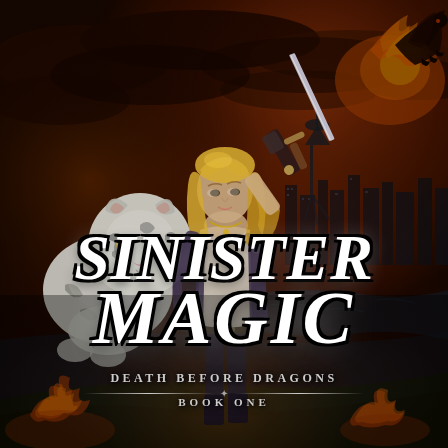[Figure (illustration): Book cover for 'Sinister Magic' - Death Before Dragons Book One. Fantasy action illustration featuring a blonde woman in leather jacket holding a sword aloft, standing in front of a dark cityscape with the Seattle Space Needle. A large white tiger stands to her left. A black dragon with fire breathes flames in the upper right corner. Dark stormy sky with orange/red fire glow. Foreground shows scorched earth with flames.]
SINISTER MAGIC
DEATH BEFORE DRAGONS
BOOK ONE